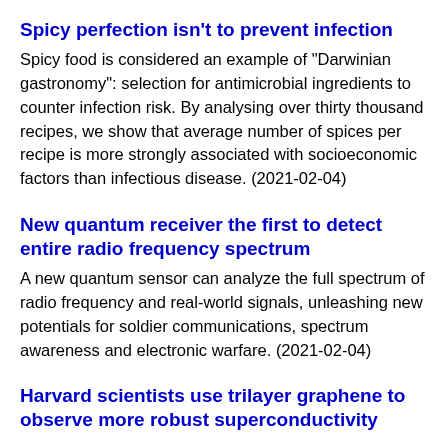Spicy perfection isn't to prevent infection
Spicy food is considered an example of "Darwinian gastronomy": selection for antimicrobial ingredients to counter infection risk. By analysing over thirty thousand recipes, we show that average number of spices per recipe is more strongly associated with socioeconomic factors than infectious disease. (2021-02-04)
New quantum receiver the first to detect entire radio frequency spectrum
A new quantum sensor can analyze the full spectrum of radio frequency and real-world signals, unleashing new potentials for soldier communications, spectrum awareness and electronic warfare. (2021-02-04)
Harvard scientists use trilayer graphene to observe more robust superconductivity